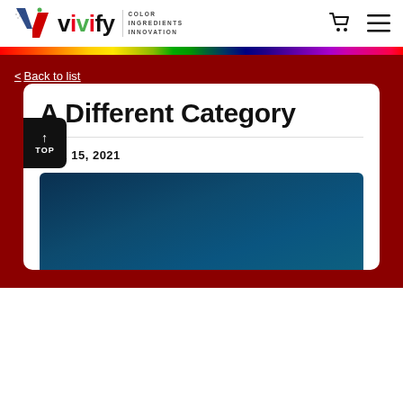vivify COLOR INGREDIENTS INNOVATION
< Back to list
A Different Category
MAR 15, 2021
[Figure (photo): Dark teal/navy blue gradient background image, article hero image]